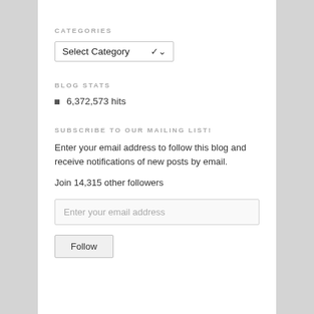CATEGORIES
[Figure (screenshot): Dropdown widget showing 'Select Category' with a downward arrow]
BLOG STATS
6,372,573 hits
SUBSCRIBE TO OUR MAILING LIST!
Enter your email address to follow this blog and receive notifications of new posts by email.
Join 14,315 other followers
[Figure (screenshot): Text input field with placeholder 'Enter your email address']
[Figure (screenshot): Follow button]